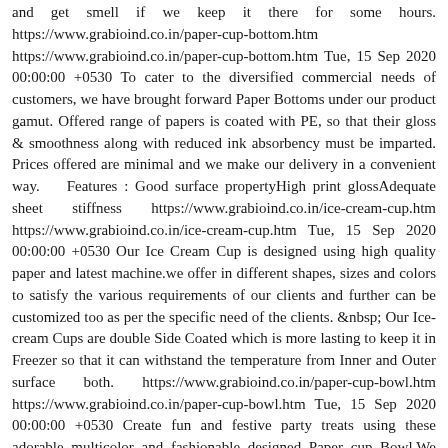and get smell if we keep it there for some hours. https://www.grabioind.co.in/paper-cup-bottom.htm https://www.grabioind.co.in/paper-cup-bottom.htm Tue, 15 Sep 2020 00:00:00 +0530 To cater to the diversified commercial needs of customers, we have brought forward Paper Bottoms under our product gamut. Offered range of papers is coated with PE, so that their gloss & smoothness along with reduced ink absorbency must be imparted. Prices offered are minimal and we make our delivery in a convenient way.   Features : Good surface propertyHigh print glossAdequate sheet stiffness https://www.grabioind.co.in/ice-cream-cup.htm https://www.grabioind.co.in/ice-cream-cup.htm Tue, 15 Sep 2020 00:00:00 +0530 Our Ice Cream Cup is designed using high quality paper and latest machine.we offer in different shapes, sizes and colors to satisfy the various requirements of our clients and further can be customized too as per the specific need of the clients. &nbsp; Our Ice-cream Cups are double Side Coated which is more lasting to keep it in Freezer so that it can withstand the temperature from Inner and Outer surface both. https://www.grabioind.co.in/paper-cup-bowl.htm https://www.grabioind.co.in/paper-cup-bowl.htm Tue, 15 Sep 2020 00:00:00 +0530 Create fun and festive party treats using these adorable multicolor and fashionable designed Paper cup Bowl.We provides food packaging comprises disposable items often found in fast food restaurants, takeout restaurants and kiosks, and catering establishments.